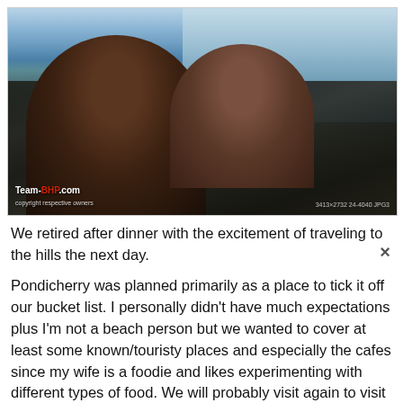[Figure (photo): Selfie photo of a man and a woman standing on rocky boulders at a beach. The man is in the foreground wearing a dark blue t-shirt, and the woman is behind him smiling, wearing a teal patterned dress. The sea and waves are visible in the background. Watermark reads Team-BHP.com in the bottom left corner.]
We retired after dinner with the excitement of traveling to the hills the next day.
Pondicherry was planned primarily as a place to tick it off our bucket list. I personally didn't have much expectations plus I'm not a beach person but we wanted to cover at least some known/touristy places and especially the cafes since my wife is a foodie and likes experimenting with different types of food. We will probably visit again to visit some